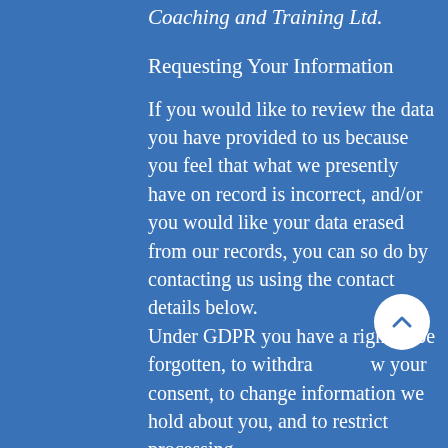Coaching and Training Ltd.
Requesting Your Information
If you would like to review the data you have provided to us because you feel that what we presently have on record is incorrect, and/or you would like your data erased from our records, you can so do by contacting us using the contact details below.
Under GDPR you have a right to be forgotten, to withdraw your consent, to change information we hold about you, and to restrict processing.
Spire Coaching and Training